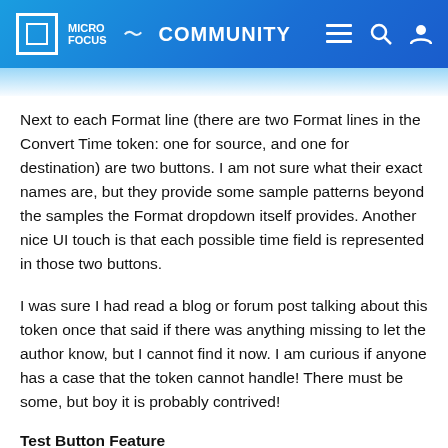Micro Focus Community
Next to each Format line (there are two Format lines in the Convert Time token: one for source, and one for destination) are two buttons. I am not sure what their exact names are, but they provide some sample patterns beyond the samples the Format dropdown itself provides. Another nice UI touch is that each possible time field is represented
in those two buttons.
I was sure I had read a blog or forum post talking about this token once that said if there was anything missing to let the author know, but I cannot find it now. I am curious if anyone has a case that the token cannot handle! There must be some, but boy it is probably contrived!
Test Button Feature
The test button feature shown in the screen shots appears to only be available in the Designer 3 series. This is NOT a stable or